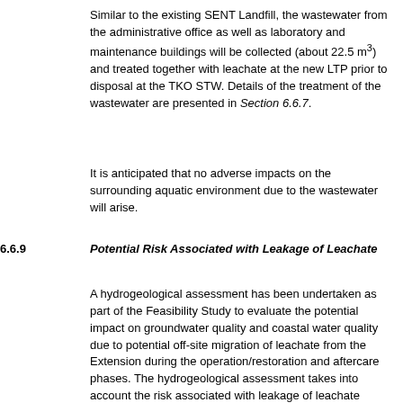Similar to the existing SENT Landfill, the wastewater from the administrative office as well as laboratory and maintenance buildings will be collected (about 22.5 m3) and treated together with leachate at the new LTP prior to disposal at the TKO STW.  Details of the treatment of the wastewater are presented in Section 6.6.7.
It is anticipated that no adverse impacts on the surrounding aquatic environment due to the wastewater will arise.
6.6.9   Potential Risk Associated with Leakage of Leachate
A hydrogeological assessment has been undertaken as part of the Feasibility Study to evaluate the potential impact on groundwater quality and coastal water quality due to potential off-site migration of leachate from the Extension during the operation/restoration and aftercare phases.  The hydrogeological assessment takes into account the risk associated with leakage of leachate throughout the project lifetime.  As with all groundwater risk assessments for landfills, it is expected that a stringent Construction Quality Assurance Programme will be adopted during the installation of the liner